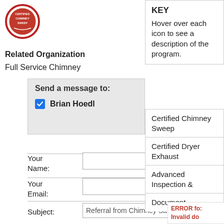[Figure (logo): Circular red and white logo/seal for a chimney-related certification organization]
KEY
Hover over each icon to see a description of the program.
Related Organization
Full Service Chimney
Send a message to:
Brian Hoedl
Your Name:
Your Email:
Subject:
Referral from Chimney Safety I
Certified Chimney Sweep
Certified Dryer Exhaust Technici...
Advanced Inspection &
Document
ERROR fo: Invalid do